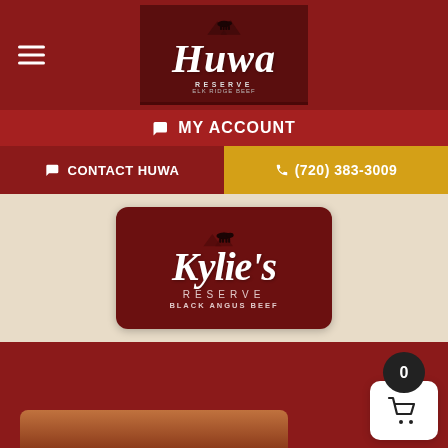[Figure (logo): Huwa Reserve logo — white script text on dark red background with silhouette of a cow above mountains]
MY ACCOUNT
CONTACT HUWA
(720) 383-3009
[Figure (logo): Kylie's Reserve Black Angus Beef logo — white script and text on dark red rounded rectangle card]
[Figure (photo): Shopping cart icon in white rounded square with badge showing 0]